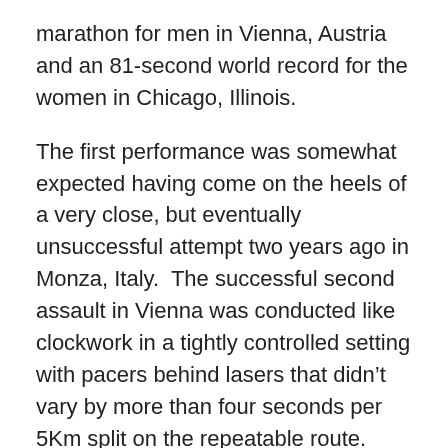marathon for men in Vienna, Austria and an 81-second world record for the women in Chicago, Illinois.
The first performance was somewhat expected having come on the heels of a very close, but eventually unsuccessful attempt two years ago in Monza, Italy.  The successful second assault in Vienna was conducted like clockwork in a tightly controlled setting with pacers behind lasers that didn’t vary by more than four seconds per 5Km split on the repeatable route.
The second headline in Chicago came as something of a shock, considering the record it topped was already thought of as an outlier. But unlike the men’s sub-2 in Austria, the new women’s record in Illinois was run in a competitive setting (though without actual competition) led by two male pacers who went out way too hard yet